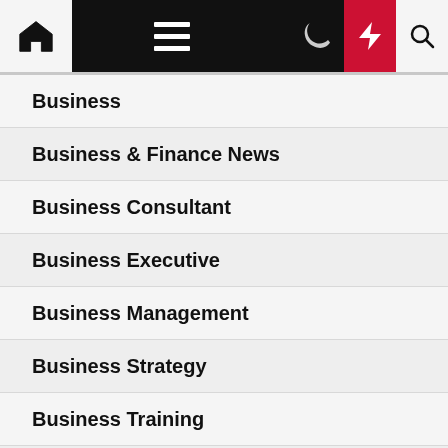Navigation bar with home, menu, moon, bolt, and search icons
Business
Business & Finance News
Business Consultant
Business Executive
Business Management
Business Strategy
Business Training
general
gift